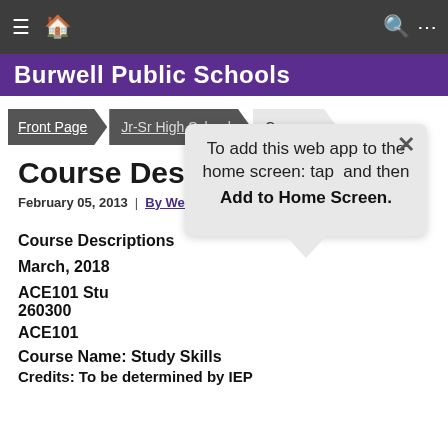≡ 🏠  🔍 ...
[Figure (screenshot): Purple banner with school name: Burwell Public Schools]
Front Page  Jr-Sr High School  Courses
Course Descriptions
February 05, 2013 | By Weber, Ronda
Course Descriptions
March, 2018
ACE101 Stu 260300
ACE101
Course Name: Study Skills
Credits: To be determined by IEP
[Figure (screenshot): iOS 'Add to Home Screen' popup dialog: 'To add this web app to the home screen: tap and then Add to Home Screen.']